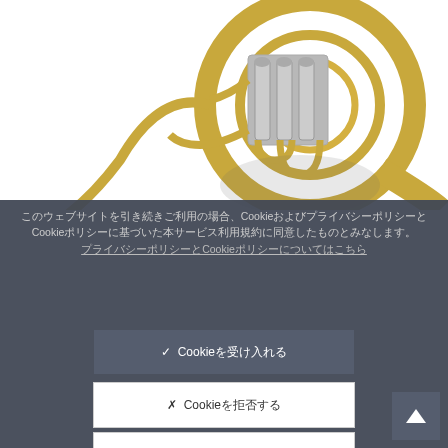[Figure (photo): A French horn (brass musical instrument) on white background, gold/brass colored with silver valves]
このウェブサイトを引き続きご利用の場合、CookieおよびプライバシーポリシーとCookieポリシーに基づいた本サービス利用規約に同意したものとみなします。
プライバシーポリシーとCookieポリシーについてはこちら
✓ Cookieを受け入れる
✗ Cookieを拒否する
Cookieの設定を行う